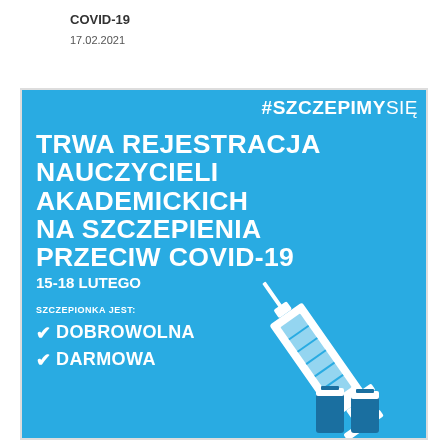COVID-19
17.02.2021
[Figure (infographic): Polish government COVID-19 vaccination registration poster on blue background. Text: #SZCZEPIMY SIĘ. TRWA REJESTRACJA NAUCZYCIELI AKADEMICKICH NA SZCZEPIENIA PRZECIW COVID-19, 15-18 LUTEGO. SZCZEPIONKA JEST: DOBROWOLNA, DARMOWA. Large syringe illustration on the right side.]